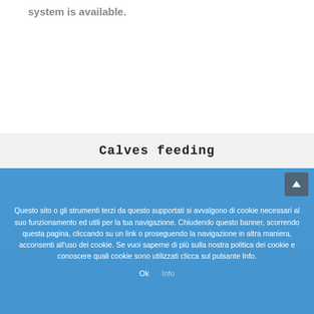system is available.
Calves feeding
Questo sito o gli strumenti terzi da questo supportati si avvalgono di cookie necessari al suo funzionamento ed utili per la tua navigazione. Chiudendo questo banner, scorrendo questa pagina, cliccando su un link o proseguendo la navigazione in altra maniera, acconsenti all'uso dei cookie. Se vuoi saperne di più sulla nostra politica dei cookie e conoscere quali cookie sono utilizzati clicca sul pulsante Info.
Ok   Info